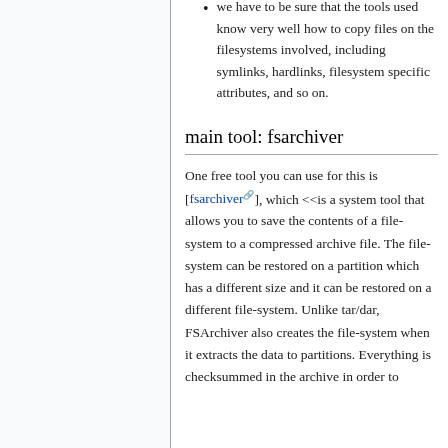we have to be sure that the tools used know very well how to copy files on the filesystems involved, including symlinks, hardlinks, filesystem specific attributes, and so on.
main tool: fsarchiver
One free tool you can use for this is [fsarchiver], which <<is a system tool that allows you to save the contents of a file-system to a compressed archive file. The file-system can be restored on a partition which has a different size and it can be restored on a different file-system. Unlike tar/dar, FSArchiver also creates the file-system when it extracts the data to partitions. Everything is checksummed in the archive in order to